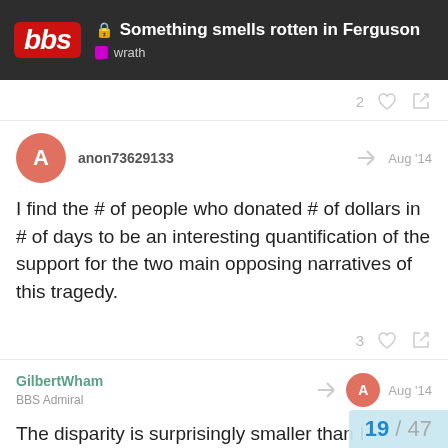Something smells rotten in Ferguson — wrath
2
anon73629133 Aug '14
I find the # of people who donated # of dollars in # of days to be an interesting quantification of the support for the two main opposing narratives of this tragedy.
3
GilbertWham BBS Admiral Aug '14
The disparity is surprisingly smaller than I expected, mind. Interesting that more people donated to Michael Brown even though the actual amount is less, too.
19 / 47